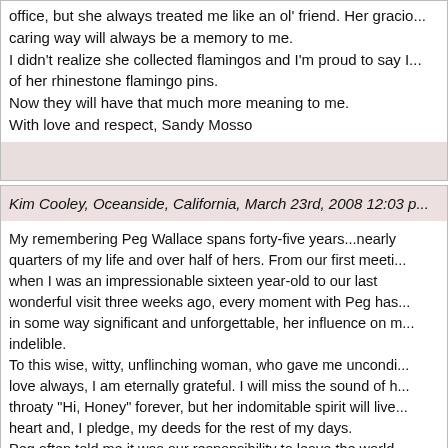office, but she always treated me like an ol' friend. Her gracious, caring way will always be a memory to me.
I didn't realize she collected flamingos and I'm proud to say I have some of her rhinestone flamingo pins.
Now they will have that much more meaning to me.
With love and respect, Sandy Mosso
Kim Cooley, Oceanside, California, March 23rd, 2008 12:03 p...
My remembering Peg Wallace spans forty-five years...nearly three quarters of my life and over half of hers. From our first meeting when I was an impressionable sixteen year-old to our last wonderful visit three weeks ago, every moment with Peg has been in some way significant and unforgettable, her influence on me indelible.
To this wise, witty, unflinching woman, who gave me unconditional love always, I am eternally grateful. I will miss the sound of her throaty "Hi, Honey" forever, but her indomitable spirit will live in my heart and, I pledge, my deeds for the rest of my days.
Peg often told me it was our responsibility to leave the world a better place. For each of us graced by her love, she has done that. Her legacy grows as each of us carries on her intention. In that, it is love that transcends. It is love that matters. Peg was the...